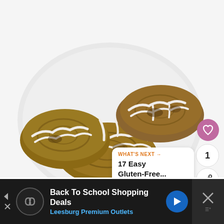[Figure (photo): Photo of glazed cinnamon rolls/scones on a white plate, drizzled with white icing, on a white background. Social media UI overlays: heart/like button, count '1', share button, and 'WHAT'S NEXT' card showing '17 Easy Gluten-Free...']
WHAT'S NEXT →
17 Easy Gluten-Free...
Back To School Shopping Deals
Leesburg Premium Outlets